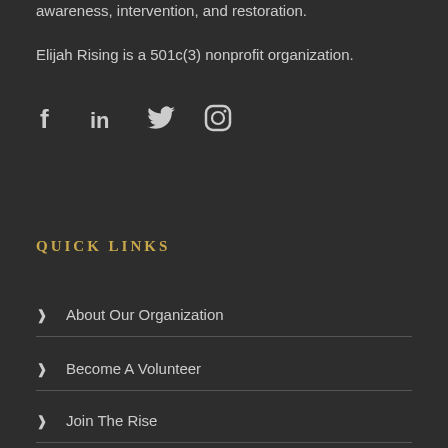awareness, intervention, and restoration.
Elijah Rising is a 501c(3) nonprofit organization.
[Figure (other): Social media icons: Facebook, LinkedIn, Twitter, Instagram]
QUICK LINKS
About Our Organization
Become A Volunteer
Join The Rise